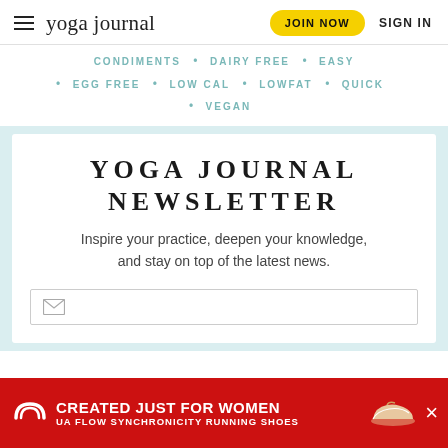yoga journal | JOIN NOW | SIGN IN
CONDIMENTS  •  DAIRY FREE  •  EASY
• EGG FREE  • LOW CAL  • LOWFAT  • QUICK
• VEGAN
YOGA JOURNAL NEWSLETTER
Inspire your practice, deepen your knowledge, and stay on top of the latest news.
[Figure (screenshot): Email input field with envelope icon]
[Figure (screenshot): Under Armour advertisement banner: CREATED JUST FOR WOMEN, UA FLOW SYNCHRONICITY RUNNING SHOES]